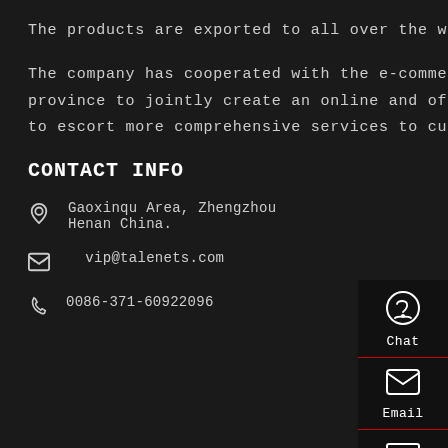The products are exported to all over the world.
The company has cooperated with the e-commerce industry incubation base in henan province to jointly create an online and offline operation model based on "internet +" to escort more comprehensive services to customers at home and abroad.
CONTACT INFO
Gaoxinqu Area, Zhengzhou Henan China.
vip@talenets.com
0086-371-60922096